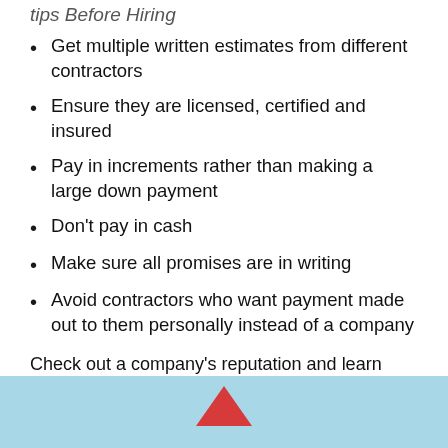...tips Before Hiring
Get multiple written estimates from different contractors
Ensure they are licensed, certified and insured
Pay in increments rather than making a large down payment
Don't pay in cash
Make sure all promises are in writing
Avoid contractors who want payment made out to them personally instead of a company
Check out a company's reputation and learn how to protect yourself by visiting the Ohio Attorney General's Office and the Better Business Bureau.
[Figure (illustration): Light blue banner with a red upward-pointing triangle/arrow shape at the bottom of the page]